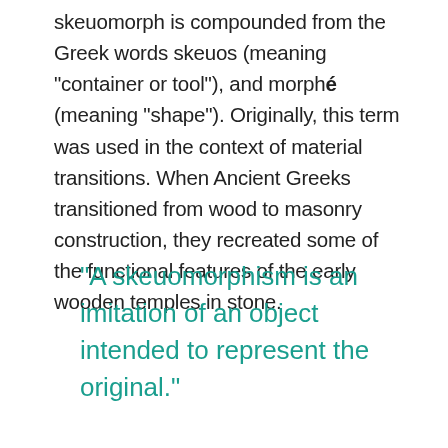skeuomorph is compounded from the Greek words skeuos (meaning "container or tool"), and morphé (meaning "shape"). Originally, this term was used in the context of material transitions. When Ancient Greeks transitioned from wood to masonry construction, they recreated some of the functional features of the early wooden temples in stone.
"A skeuomorphism is an imitation of an object intended to represent the original."